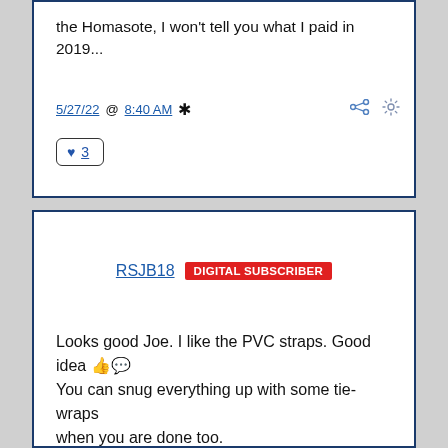the Homasote, I won't tell you what I paid in 2019...
5/27/22 @ 8:40 AM *
♥ 3
RSJB18 DIGITAL SUBSCRIBER
Looks good Joe. I like the PVC straps. Good idea 👍 You can snug everything up with some tie-wraps when you are done too.

Bob